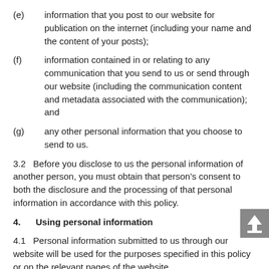(e)    information that you post to our website for publication on the internet (including your name and the content of your posts);
(f)    information contained in or relating to any communication that you send to us or send through our website (including the communication content and metadata associated with the communication); and
(g)    any other personal information that you choose to send to us.
3.2   Before you disclose to us the personal information of another person, you must obtain that person’s consent to both the disclosure and the processing of that personal information in accordance with this policy.
4.      Using personal information
4.1   Personal information submitted to us through our website will be used for the purposes specified in this policy or on the relevant pages of the website.
4.2   We may use your personal information to:
(a)    administer our website and business;